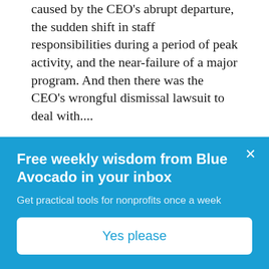caused by the CEO's abrupt departure, the sudden shift in staff responsibilities during a period of peak activity, and the near-failure of a major program. And then there was the CEO's wrongful dismissal lawsuit to deal with....
Reply
noname says February 22, 2011 at 10:04 pm
[Figure (illustration): Circular avatar icon with brown background and grey/white pixel-art figure]
Free weekly wisdom from Blue Avocado in your inbox
Get practical tools for nonprofits once a week
Yes please